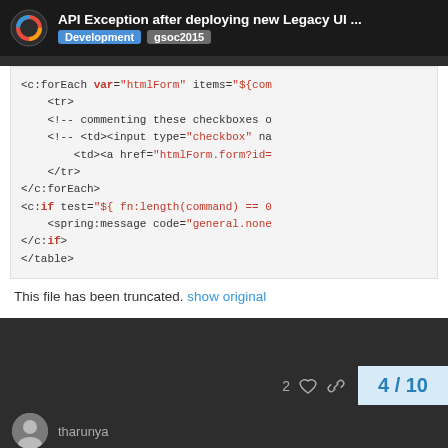API Exception after deploying new Legacy UI ... | Development | gsoc2015
[Figure (screenshot): Code block showing JSP/JSTL XML code snippet with forEach loop, table rows, commented checkboxes, and c:if conditional, truncated with 'show original' link]
This file has been truncated. show original
2  4 / 10
tharunya